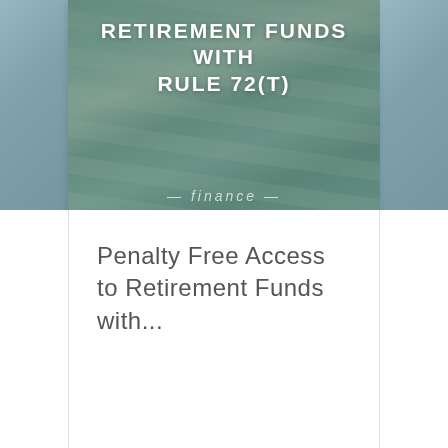[Figure (photo): Photo of US dollar bills with a compass/pen, overlaid with text 'RETIREMENT FUNDS WITH RULE 72(T)' in white uppercase letters on a teal/blue-green tinted background. Partially visible side panels on left and right.]
Penalty Free Access to Retirement Funds with...